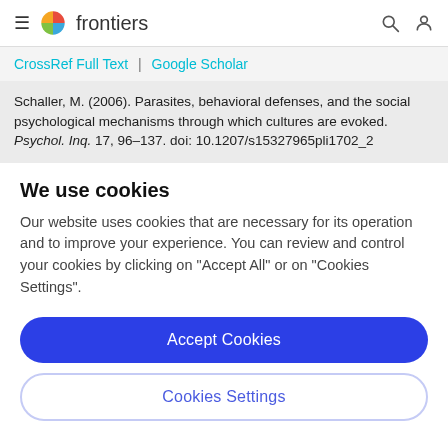frontiers
CrossRef Full Text | Google Scholar
Schaller, M. (2006). Parasites, behavioral defenses, and the social psychological mechanisms through which cultures are evoked. Psychol. Inq. 17, 96–137. doi: 10.1207/s15327965pli1702_2
We use cookies
Our website uses cookies that are necessary for its operation and to improve your experience. You can review and control your cookies by clicking on "Accept All" or on "Cookies Settings".
Accept Cookies
Cookies Settings